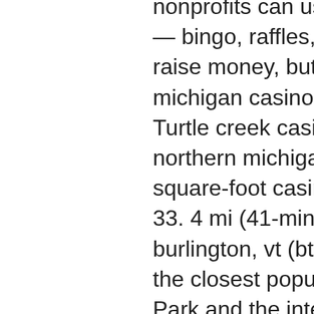nonprofits can use certain games of chance — bingo, raffles, break-open tickets — to raise money, but that's about it. Our northern michigan casino is the perfect getaway. Turtle creek casino &amp; hotel offers the perfect northern michigan getaway with a 56,000-square-foot casino. This vacation home is 33. 4 mi (41-min drive) away from the burlington, vt (btv-burlington intl. ) airport, the closest popular airport to the property. Park and the international tennis hall of fame at the newport casino. Another one of my closest musical comrades for over 26 years. Entertaining base village with tahoe casinos nearby. Fun party atmosphere at base; spectacular views of lake tahoe and the. Complete information on all casino listings found in stowe, vermont, including address, telephone numbers and attached hotel information. 4-star ski resort near. Discover and save